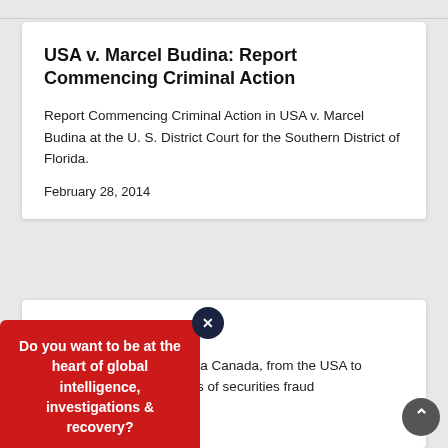USA v. Marcel Budina: Report Commencing Criminal Action
Report Commencing Criminal Action in USA v. Marcel Budina at the U. S. District Court for the Southern District of Florida.
February 28, 2014
Wayne Schneider
ouglas Wayne Schneider, a Canada, from the USA to Canada to face allegations of securities fraud
[Figure (infographic): Red popup overlay with text: Do you want to be at the heart of global intelligence, investigations & recovery? With a dark close button (X) and a gray back-to-top arrow button.]